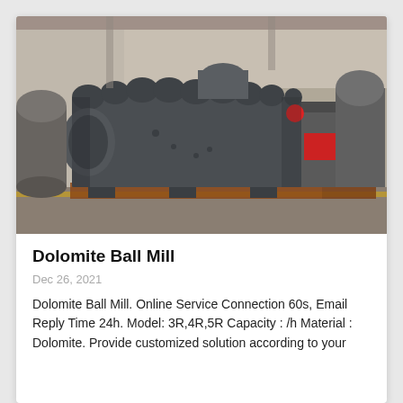[Figure (photo): Industrial ball mill machinery in a factory setting. Large dark grey heavy machine sitting on wooden pallets on a factory floor. Additional machinery visible in background.]
Dolomite Ball Mill
Dec 26, 2021
Dolomite Ball Mill. Online Service Connection 60s, Email Reply Time 24h. Model: 3R,4R,5R Capacity : /h Material : Dolomite. Provide customized solution according to your